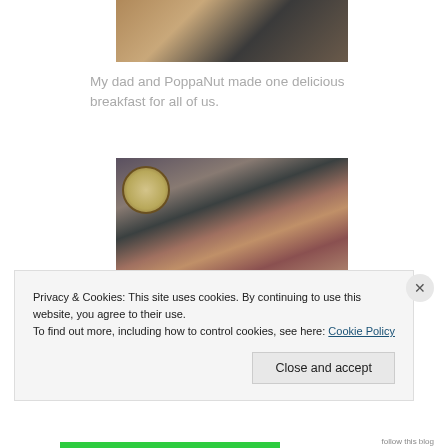[Figure (photo): A person preparing food in a kitchen, with a clear container and potatoes visible on the counter.]
My dad and PoppaNut made one delicious breakfast for all of us.
[Figure (photo): A decorated room shelf with a large ornate clock, a plant, framed photo, candles, red curtains, and a child with blonde hair visible at the edge.]
Privacy & Cookies: This site uses cookies. By continuing to use this website, you agree to their use.
To find out more, including how to control cookies, see here: Cookie Policy
Close and accept